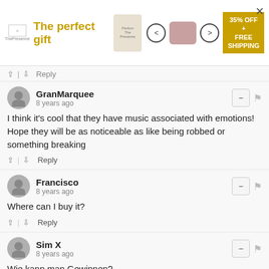[Figure (screenshot): Advertisement banner for 'The perfect gift' with navigation arrows, bowl image, and '35% OFF + FREE SHIPPING' offer]
↑ | ↓  Reply
GranMarquee
8 years ago
I think it's cool that they have music associated with emotions! Hope they will be as noticeable as like being robbed or something breaking
↑ | ↓  Reply
Francisco
8 years ago
Where can I buy it?
↑ | ↓  Reply
Sim X
8 years ago
Wie kann man Gewinnen?
↑ | ↓  Reply
Elias → Sim X